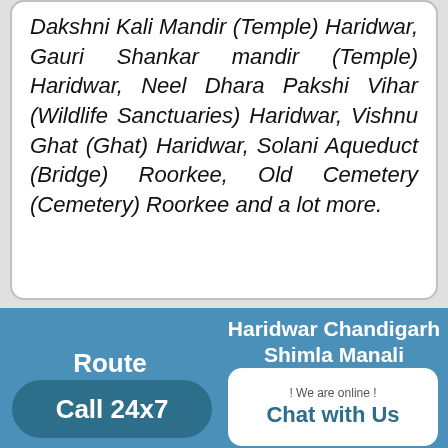Dakshni Kali Mandir (Temple) Haridwar, Gauri Shankar mandir (Temple) Haridwar, Neel Dhara Pakshi Vihar (Wildlife Sanctuaries) Haridwar, Vishnu Ghat (Ghat) Haridwar, Solani Aqueduct (Bridge) Roorkee, Old Cemetery (Cemetery) Roorkee and a lot more.
Route
Call 24x7
Haridwar Chandigarh Shimla Manali
! We are online ! Chat with Us